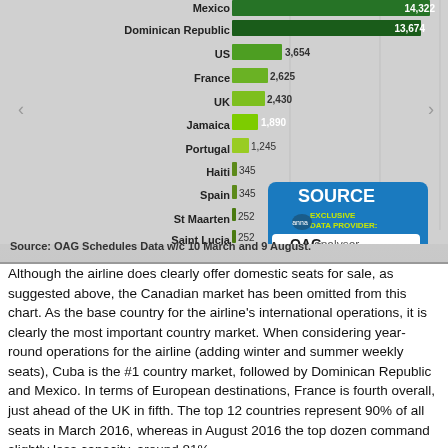[Figure (bar-chart): Top country markets (weekly seats)]
Source: OAG Schedules Data w/c 10 March and 9 August.
Although the airline does clearly offer domestic seats for sale, as suggested above, the Canadian market has been omitted from this chart. As the base country for the airline's international operations, it is clearly the most important country market. When considering year-round operations for the airline (adding winter and summer weekly seats), Cuba is the #1 country market, followed by Dominican Republic and Mexico. In terms of European destinations, France is fourth overall, just ahead of the UK in fifth. The top 12 countries represent 90% of all seats in March 2016, whereas in August 2016 the top dozen command slightly less capacity, around 81%.